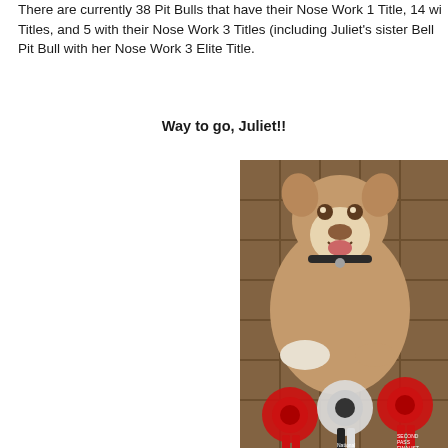There are currently 38 Pit Bulls that have their Nose Work 1 Title, 14 with their Nose Work 2 Titles, and 5 with their Nose Work 3 Titles (including Juliet's sister Bella), making Juliet the first Pit Bull with her Nose Work 3 Elite Title.
Way to go, Juliet!!
[Figure (photo): A brown and white Pit Bull dog lying on a patterned carpet/rug, looking up at the camera with mouth open in a happy expression. The dog is wearing a collar with tags. In front of the dog are several award ribbons including red rosette ribbons and a black and white rosette ribbon, arranged on the floor.]